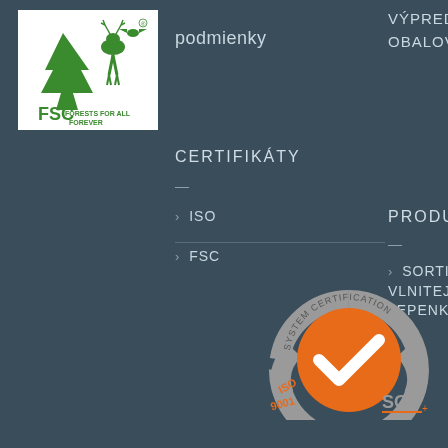[Figure (logo): FSC Forests For All Forever certification logo with tree and animals silhouette in green on white background]
podmienky
VÝPREDAJOVÝCH OBALOV
CERTIFIKÁTY
ISO
FSC
PRODUKTY
SORTIMENT VLNITEJ LEPENKY
[Figure (logo): SGS System Certification ISO 9001 badge with orange circle, white checkmark, and SGS text on grey arc]